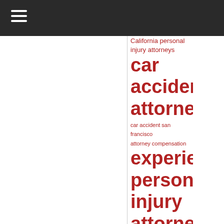Navigation menu header bar
[Figure (other): Tag cloud of legal search terms in red, varying font sizes indicating frequency/importance. Terms include: California personal injury attorneys, car accident attorney, car accident san francisco, attorney compensation, experienced personal injury attorney, fremont, hayward law firm, lawyer, motorcycle, motorcycle accident, motorcycle accident lawyer, motorcycle accidents, motorcycle deaths, motorcycle...]
California personal injury attorneys
car accident attorney
car accident san francisco
attorney compensation
experienced personal injury attorney
fremont
hayward law firm
lawyer
motorcycle
motorcycle accident
motorcycle accident lawyer
motorcycle accidents
motorcycle deaths
motorcycle